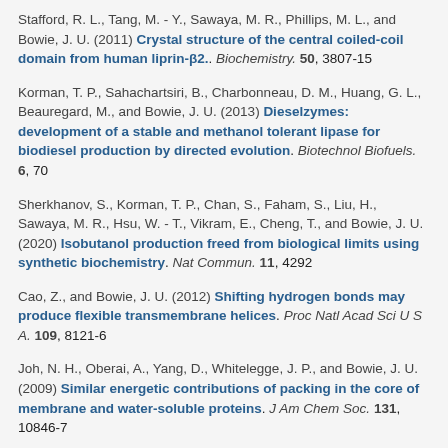Stafford, R. L., Tang, M. - Y., Sawaya, M. R., Phillips, M. L., and Bowie, J. U. (2011) Crystal structure of the central coiled-coil domain from human liprin-β2.. Biochemistry. 50, 3807-15
Korman, T. P., Sahachartsiri, B., Charbonneau, D. M., Huang, G. L., Beauregard, M., and Bowie, J. U. (2013) Dieselzymes: development of a stable and methanol tolerant lipase for biodiesel production by directed evolution. Biotechnol Biofuels. 6, 70
Sherkhanov, S., Korman, T. P., Chan, S., Faham, S., Liu, H., Sawaya, M. R., Hsu, W. - T., Vikram, E., Cheng, T., and Bowie, J. U. (2020) Isobutanol production freed from biological limits using synthetic biochemistry. Nat Commun. 11, 4292
Cao, Z., and Bowie, J. U. (2012) Shifting hydrogen bonds may produce flexible transmembrane helices. Proc Natl Acad Sci U S A. 109, 8121-6
Joh, N. H., Oberai, A., Yang, D., Whitelegge, J. P., and Bowie, J. U. (2009) Similar energetic contributions of packing in the core of membrane and water-soluble proteins. J Am Chem Soc. 131, 10846-7
Vinokur, J. M., Korman, T. P., Sawaya, M. R., Collazo, M., Cascio, D., and Bowie, J. U. (2015) Structure and...